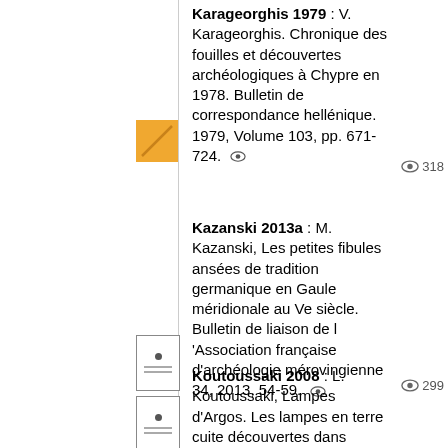Karageorghis 1979 : V. Karageorghis. Chronique des fouilles et découvertes archéologiques à Chypre en 1978. Bulletin de correspondance hellénique. 1979, Volume 103, pp. 671-724.
Kazanski 2013a : M. Kazanski, Les petites fibules ansées de tradition germanique en Gaule méridionale au Ve siècle. Bulletin de liaison de l'Association française d'archéologie mérovingienne 34, 2013, 54-59.
Koutoussaki 2008 : L. Koutoussaki, Lampes d'Argos. Les lampes en terre cuite découvertes dans l'Agora et les Thermes. Campagnes de